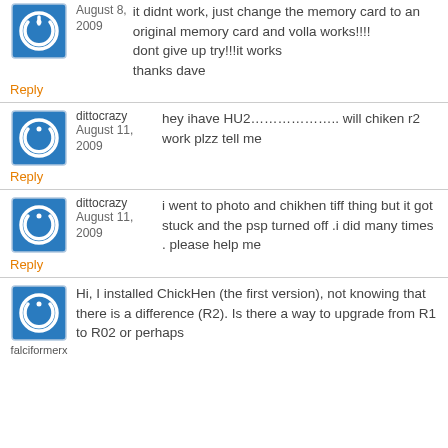it didnt work, just change the memory card to an original memory card and volla works!!!! dont give up try!!!it works thanks dave
August 8, 2009
Reply
dittocrazy
August 11, 2009
hey ihave HU2……………….. will chiken r2 work plzz tell me
Reply
dittocrazy
August 11, 2009
i went to photo and chikhen tiff thing but it got stuck and the psp turned off .i did many times . please help me
Reply
falciformerx
Hi, I installed ChickHen (the first version), not knowing that there is a difference (R2). Is there a way to upgrade from R1 to R02 or perhaps